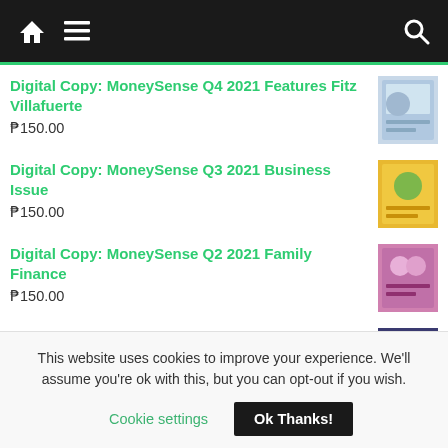Navigation bar with home, menu, and search icons
Digital Copy: MoneySense Q4 2021 Features Fitz Villafuerte
₱150.00
Digital Copy: MoneySense Q3 2021 Business Issue
₱150.00
Digital Copy: MoneySense Q2 2021 Family Finance
₱150.00
Digital Copy: MoneySense Q1 2021 Investing
This website uses cookies to improve your experience. We'll assume you're ok with this, but you can opt-out if you wish.
Cookie settings    Ok Thanks!